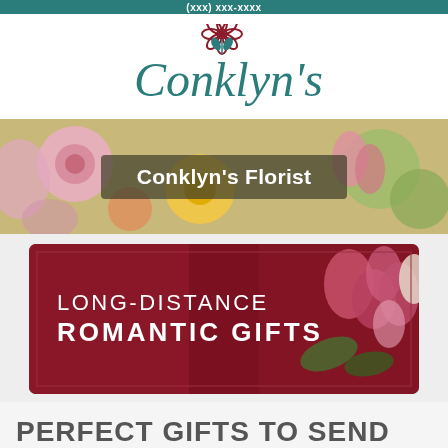(xxx) xxx-xxxx
[Figure (logo): Conklyn's florist logo with teal cursive text and a dark red flower graphic above]
[Figure (photo): Colorful flower arrangement banner with text overlay reading 'Conklyn's Florist']
[Figure (photo): Dark red/maroon banner with person holding bouquet of tulips and flowers. Text overlay reads 'LONG-DISTANCE ROMANTIC GIFTS']
PERFECT GIFTS TO SEND TO YOUR LOVE